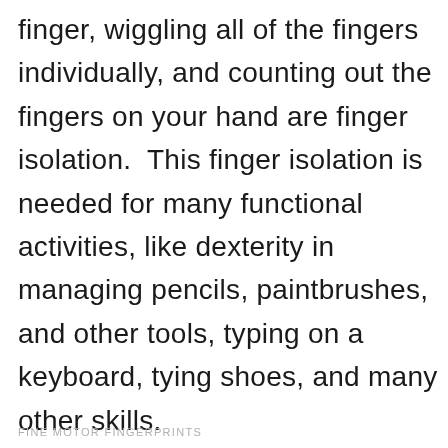finger, wiggling all of the fingers individually, and counting out the fingers on your hand are finger isolation.  This finger isolation is needed for many functional activities, like dexterity in managing pencils, paintbrushes, and other tools, typing on a keyboard, tying shoes, and many other skills.
FINE MOTOR FINGERPRINTS